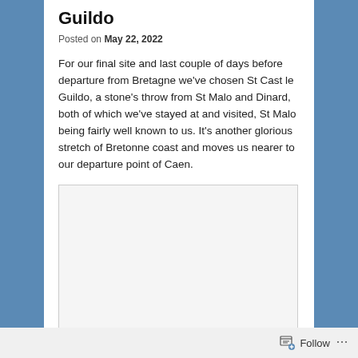Guildo
Posted on May 22, 2022
For our final site and last couple of days before departure from Bretagne we've chosen St Cast le Guildo, a stone's throw from St Malo and Dinard, both of which we've stayed at and visited, St Malo being fairly well known to us. It's another glorious stretch of Bretonne coast and moves us nearer to our departure point of Caen.
[Figure (photo): Blank image placeholder within a bordered box]
Follow ...